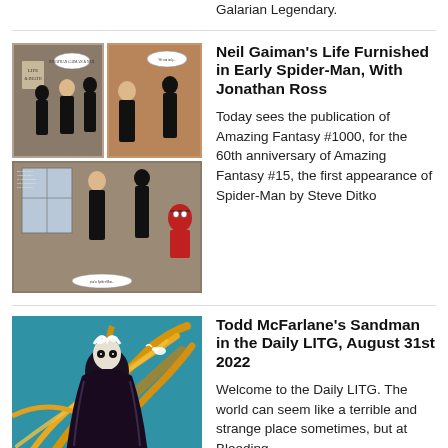Galarian Legendary.
Neil Gaiman's Life Furnished in Early Spider-Man, With Jonathan Ross
[Figure (illustration): Comic book panels showing characters in black clothing in what appears to be an office or hallway setting, with Spider-Man appearing in a lower panel.]
Today sees the publication of Amazing Fantasy #1000, for the 60th anniversary of Amazing Fantasy #15, the first appearance of Spider-Man by Steve Ditko
Todd McFarlane's Sandman in the Daily LITG, August 31st 2022
[Figure (illustration): A colorful illustration of the Sandman character in a black cloak surrounded by golden swirling energy against a teal/blue background.]
Welcome to the Daily LITG. The world can seem like a terrible and strange place sometimes, but at Bleeding